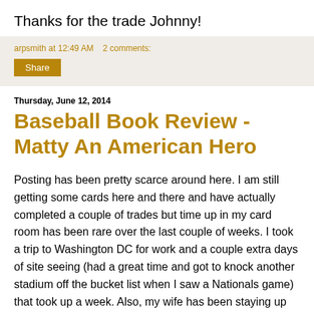Thanks for the trade Johnny!
arpsmith at 12:49 AM   2 comments:
Share
Thursday, June 12, 2014
Baseball Book Review - Matty An American Hero
Posting has been pretty scarce around here.  I am still getting some cards here and there and have actually completed a couple of trades but time up in my card room has been rare over the last couple of weeks.  I took a trip to Washington DC for work and a couple extra days of site seeing (had a great time and got to knock another stadium off the bucket list when I saw a Nationals game) that took up a week. Also, my wife has been staying up later and we have been hanging out more at night which is great for the relationship but not so much for the blog.  I suspect posting